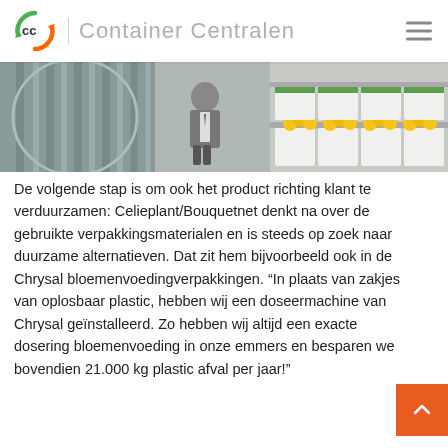Container Centralen
[Figure (photo): A man in a grey suit standing in a flower warehouse next to large metal containers/rolls on the left and shelves with yellow flowers in white boxes on the right.]
De volgende stap is om ook het product richting klant te verduurzamen: Celieplant/Bouquetnet denkt na over de gebruikte verpakkingsmaterialen en is steeds op zoek naar duurzame alternatieven. Dat zit hem bijvoorbeeld ook in de Chrysal bloemenvoedingverpakkingen. “In plaats van zakjes van oplosbaar plastic, hebben wij een doseermachine van Chrysal geïnstalleerd. Zo hebben wij altijd een exacte dosering bloemenvoeding in onze emmers en besparen we bovendien 21.000 kg plastic afval per jaar!”